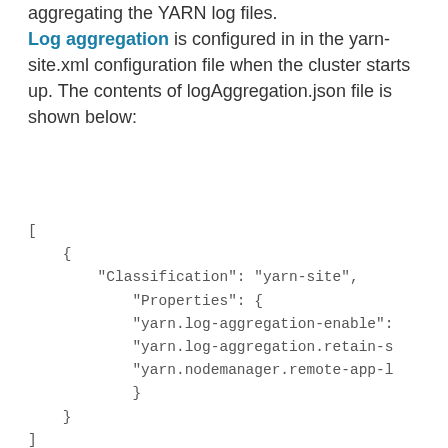aggregating the YARN log files. Log aggregation is configured in in the yarn-site.xml configuration file when the cluster starts up. The contents of logAggregation.json file is shown below:
[
    {
        "Classification": "yarn-site",
            "Properties": {
            "yarn.log-aggregation-enable":
            "yarn.log-aggregation.retain-s
            "yarn.nodemanager.remote-app-l
            }
    }
]